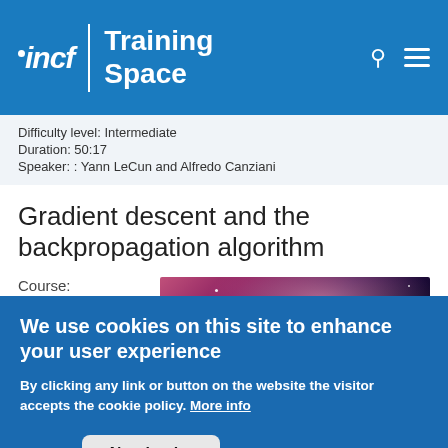incf | Training Space
Difficulty level:   Intermediate
Duration: 50:17
Speaker: : Yann LeCun and Alfredo Canziani
Gradient descent and the backpropagation algorithm
Course:
Introduction to
[Figure (photo): Nebula / space image with pink and purple cosmic clouds and stars]
We use cookies on this site to enhance your user experience
By clicking any link or button on the website the visitor accepts the cookie policy. More info
Accept   No, thanks